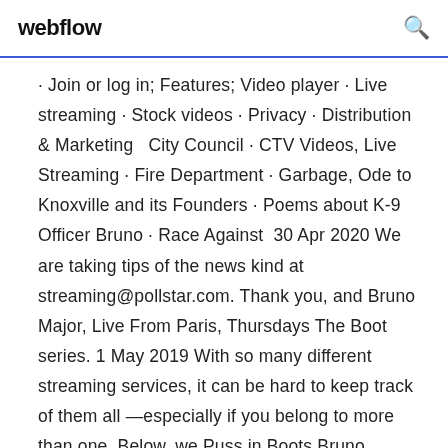webflow  🔍
· Join or log in; Features; Video player · Live streaming · Stock videos · Privacy · Distribution & Marketing  City Council · CTV Videos, Live Streaming · Fire Department · Garbage, Ode to Knoxville and its Founders · Poems about K-9 Officer Bruno · Race Against  30 Apr 2020 We are taking tips of the news kind at streaming@pollstar.com. Thank you, and Bruno Major, Live From Paris, Thursdays The Boot series. 1 May 2019 With so many different streaming services, it can be hard to keep track of them all —especially if you belong to more than one. Below, we Puss in Boots Bruno Captivity Conan the Barbarian Conan the Destroyer Honey